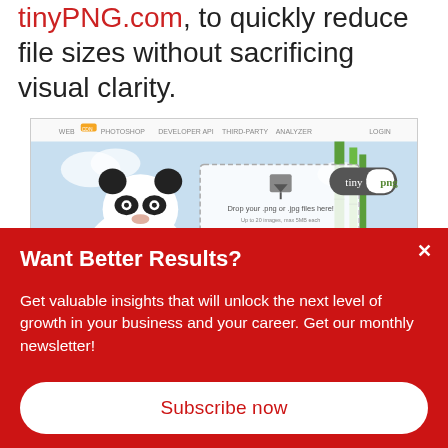tinyPNG.com, to quickly reduce file sizes without sacrificing visual clarity.
[Figure (screenshot): Screenshot of TinyPNG website showing Smart PNG and JPEG compression interface with panda mascot, drop zone for files, and navigation menu.]
Want Better Results?
Get valuable insights that will unlock the next level of growth in your business and your career. Get our monthly newsletter!
Subscribe now